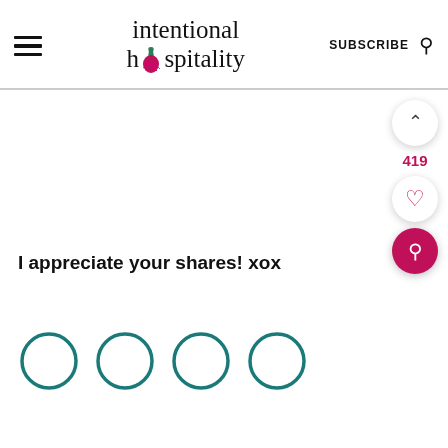intentional hospitality — SUBSCRIBE
I appreciate your shares! xox
[Figure (other): Four teal circular social share button icons at bottom of page]